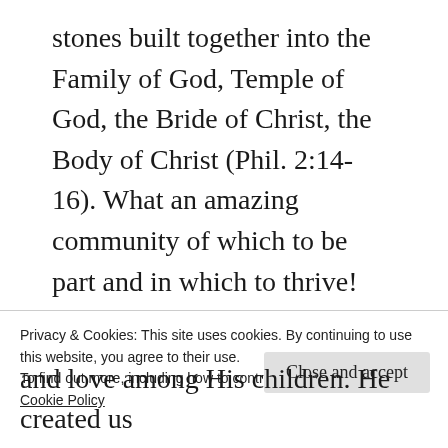stones built together into the Family of God, Temple of God, the Bride of Christ, the Body of Christ (Phil. 2:14-16). What an amazing community of which to be part and in which to thrive! What a glorious witness we would be to a watching world of what life in the Kingdom of God is like, because this is what God is like and we bear His image (2 Cor. 4:6, Rev. 21:22-27).
God would be glorified, and Christ would be
Privacy & Cookies: This site uses cookies. By continuing to use this website, you agree to their use.
To find out more, including how to control cookies, see here: Cookie Policy
Close and accept
and love among His children. He created us